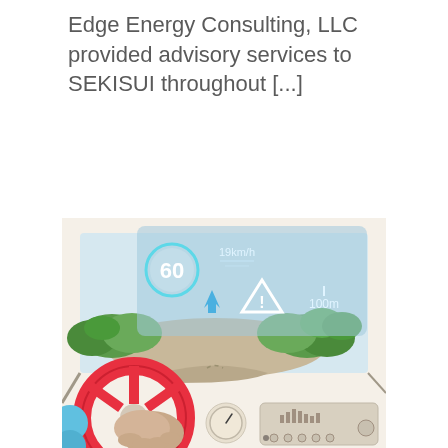Edge Energy Consulting, LLC provided advisory services to SEKISUI throughout [...]
[Figure (illustration): Illustration of a car interior from driver's perspective showing a heads-up display (HUD) overlaid on the windshield. The HUD shows a speed limit circle with '60', current speed '19km/h', a blue arrow/navigation indicator, a warning triangle symbol, and '100m' distance indicator. Outside the windshield is a road scene with green trees and hills. Inside the car, a red steering wheel with a hand gripping it is visible, along with dashboard elements including a gauge and a radio unit.]